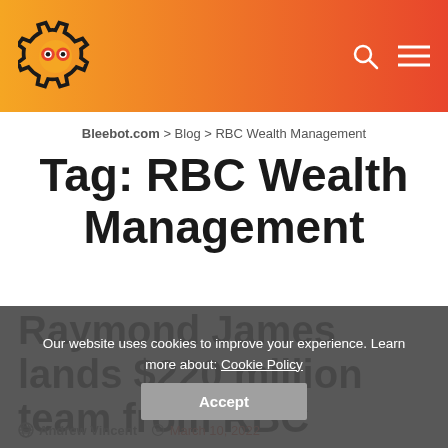Bleebot logo and navigation header
Bleebot.com > Blog > RBC Wealth Management
Tag: RBC Wealth Management
Raymond James lands $220 million team from RBC
Andrew Vincent  |  March 10, 2022
Our website uses cookies to improve your experience. Learn more about: Cookie Policy  Accept